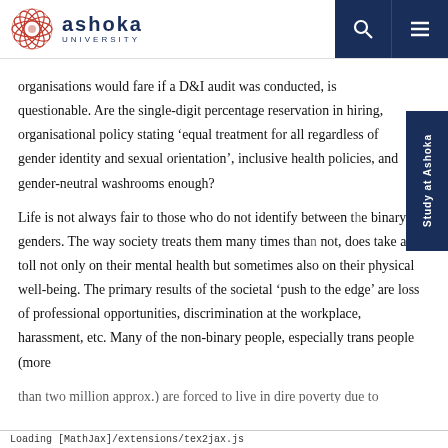Ashoka University
organisations would fare if a D&I audit was conducted, is questionable. Are the single-digit percentage reservation in hiring, organisational policy stating ‘equal treatment for all regardless of gender identity and sexual orientation’, inclusive health policies, and gender-neutral washrooms enough?
Life is not always fair to those who do not identify between the binary genders. The way society treats them many times than not, does take a toll not only on their mental health but sometimes also on their physical well-being. The primary results of the societal ‘push to the edge’ are loss of professional opportunities, discrimination at the workplace, harassment, etc. Many of the non-binary people, especially trans people (more than two million approx.) are forced to live in dire poverty due to
Loading [MathJax]/extensions/tex2jax.js